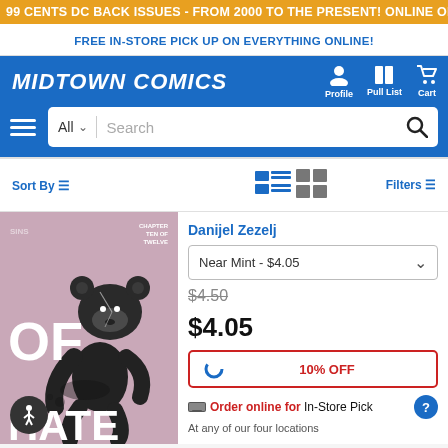99 CENTS DC BACK ISSUES - FROM 2000 TO THE PRESENT! ONLINE ONLY, TODAY ONLY!
FREE IN-STORE PICK UP ON EVERYTHING ONLINE!
[Figure (logo): Midtown Comics logo with navigation icons for Profile, Pull List, and Cart]
Sort By  Filters
[Figure (screenshot): Comic book cover showing 'OF HATE' with a teddy bear illustration, pink background, chapter ten of twelve]
Danijel Zezelj
Near Mint - $4.05
$4.50
$4.05
10% OFF
Order online for In-Store Pick
At any of our four locations